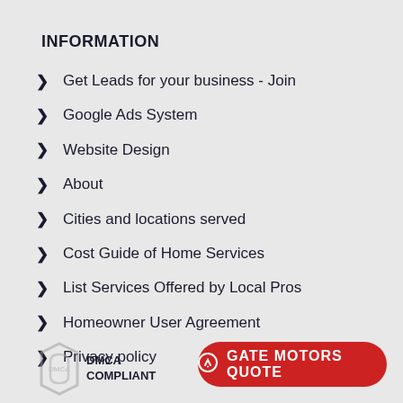INFORMATION
Get Leads for your business - Join
Google Ads System
Website Design
About
Cities and locations served
Cost Guide of Home Services
List Services Offered by Local Pros
Homeowner User Agreement
Privacy policy
[Figure (logo): DMCA Compliant badge logo]
GATE MOTORS QUOTE